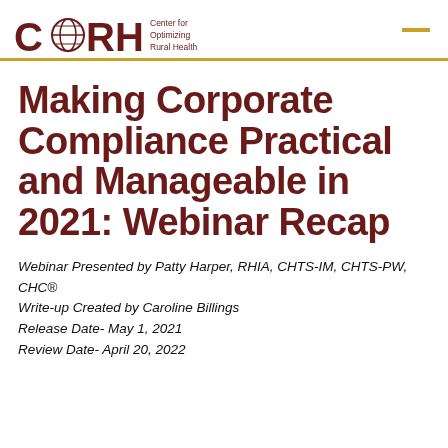[Figure (logo): CORH logo with globe icon and text 'Center for Optimizing Rural Health']
Making Corporate Compliance Practical and Manageable in 2021: Webinar Recap
Webinar Presented by Patty Harper, RHIA, CHTS-IM, CHTS-PW, CHC®
Write-up Created by Caroline Billings
Release Date- May 1, 2021
Review Date- April 20, 2022